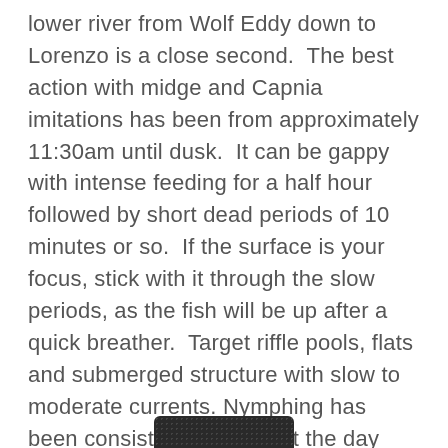lower river from Wolf Eddy down to Lorenzo is a close second. The best action with midge and Capnia imitations has been from approximately 11:30am until dusk. It can be gappy with intense feeding for a half hour followed by short dead periods of 10 minutes or so. If the surface is your focus, stick with it through the slow periods, as the fish will be up after a quick breather. Target riffle pools, flats and submerged structure with slow to moderate currents. Nymphing has been consistent throughout the day with the prime time being from around 11am until 4pm or so. Chironomid imitations are working best, although there is noticeably good action on larger stonefly imitations that, at times, can be [obscured]od as midge